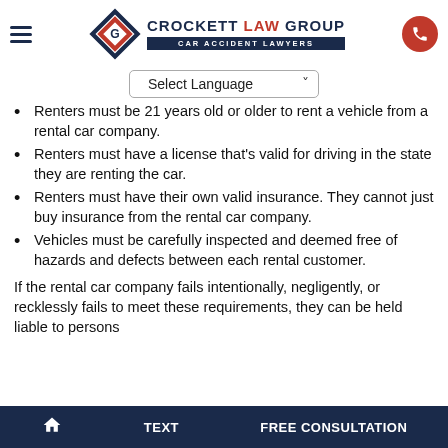Crockett Law Group – Car Accident Lawyers
Renters must be 21 years old or older to rent a vehicle from a rental car company.
Renters must have a license that's valid for driving in the state they are renting the car.
Renters must have their own valid insurance. They cannot just buy insurance from the rental car company.
Vehicles must be carefully inspected and deemed free of hazards and defects between each rental customer.
If the rental car company fails intentionally, negligently, or recklessly fails to meet these requirements, they can be held liable to persons
TEXT   FREE CONSULTATION